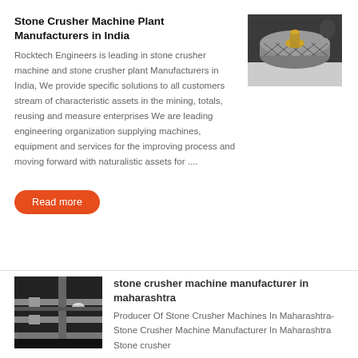Stone Crusher Machine Plant Manufacturers in India
[Figure (photo): Industrial cylindrical roller or drum component, cylindrical metal machine part with diamond pattern texture, photographed on a white surface in an industrial setting]
Rocktech Engineers is leading in stone crusher machine and stone crusher plant Manufacturers in India, We provide specific solutions to all customers stream of characteristic assets in the mining, totals, reusing and measure enterprises We are leading engineering organization supplying machines, equipment and services for the improving process and moving forward with naturalistic assets for ....
Read more
[Figure (photo): Industrial stone crusher machine with metal guide rails and heavy-duty metal frame, photographed in a dark industrial setting]
stone crusher machine manufacturer in maharashtra
Producer Of Stone Crusher Machines In Maharashtra-Stone Crusher Machine Manufacturer In Maharashtra Stone crusher